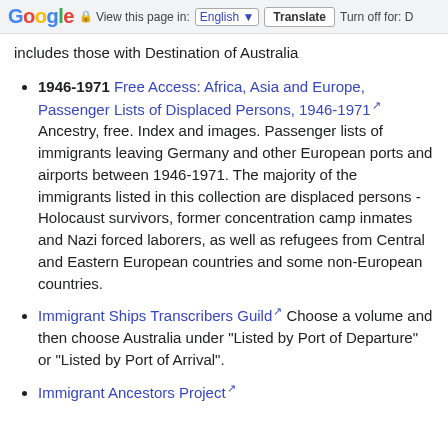Google | View this page in: English [▼] | Translate | Turn off for: D
includes those with Destination of Australia
1946-1971 Free Access: Africa, Asia and Europe, Passenger Lists of Displaced Persons, 1946-1971 — Ancestry, free. Index and images. Passenger lists of immigrants leaving Germany and other European ports and airports between 1946-1971. The majority of the immigrants listed in this collection are displaced persons - Holocaust survivors, former concentration camp inmates and Nazi forced laborers, as well as refugees from Central and Eastern European countries and some non-European countries.
Immigrant Ships Transcribers Guild — Choose a volume and then choose Australia under "Listed by Port of Departure" or "Listed by Port of Arrival".
Immigrant Ancestors Project